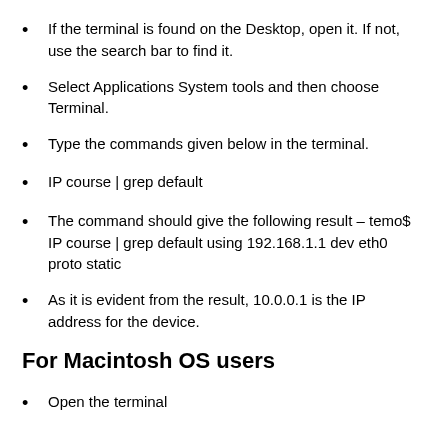If the terminal is found on the Desktop, open it. If not, use the search bar to find it.
Select Applications System tools and then choose Terminal.
Type the commands given below in the terminal.
IP course | grep default
The command should give the following result – temo$ IP course | grep default using 192.168.1.1 dev eth0 proto static
As it is evident from the result, 10.0.0.1 is the IP address for the device.
For Macintosh OS users
Open the terminal